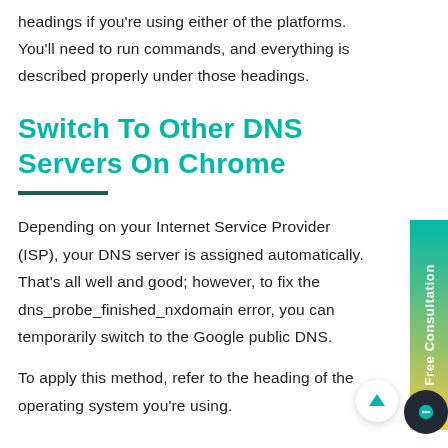headings if you're using either of the platforms. You'll need to run commands, and everything is described properly under those headings.
Switch To Other DNS Servers On Chrome
Depending on your Internet Service Provider (ISP), your DNS server is assigned automatically. That's all well and good; however, to fix the dns_probe_finished_nxdomain error, you can temporarily switch to the Google public DNS.
To apply this method, refer to the heading of the operating system you're using.